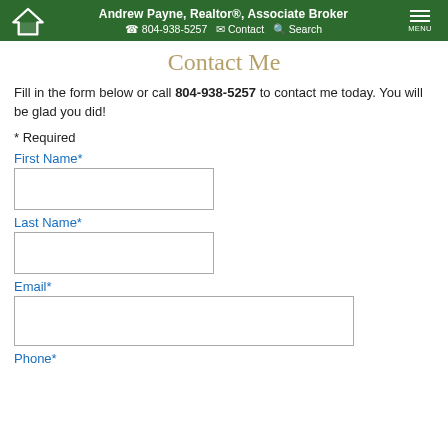Andrew Payne, Realtor®, Associate Broker | ☎ 804-938-5257 | ✉ Contact | 🔍 Search | MENU
Contact Me
Fill in the form below or call 804-938-5257 to contact me today. You will be glad you did!
* Required
First Name*
Last Name*
Email*
Phone*